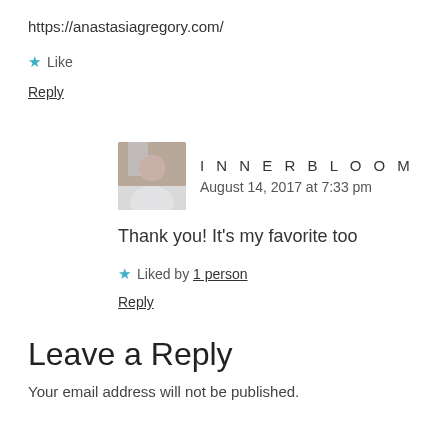https://anastasiagregory.com/
★ Like
Reply
INNERBLOOM
August 14, 2017 at 7:33 pm
Thank you! It's my favorite too
★ Liked by 1 person
Reply
Leave a Reply
Your email address will not be published.